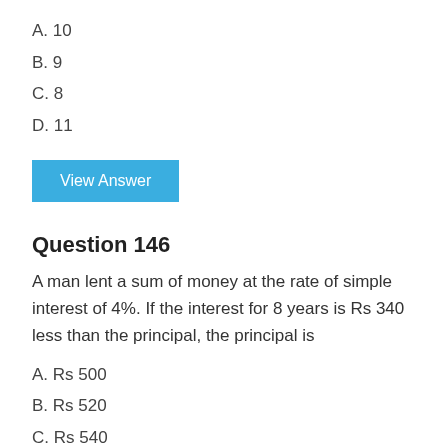A. 10
B. 9
C. 8
D. 11
View Answer
Question 146
A man lent a sum of money at the rate of simple interest of 4%. If the interest for 8 years is Rs 340 less than the principal, the principal is
A. Rs 500
B. Rs 520
C. Rs 540
D. Rs 560